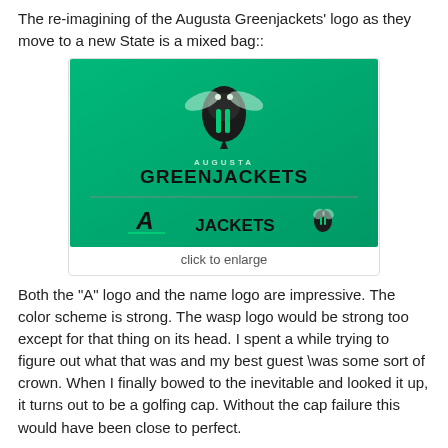The re-imagining of the Augusta Greenjackets' logo as they move to a new State is a mixed bag::
[Figure (logo): Augusta Greenjackets logo on green gradient background showing wasp mascot, team name 'AUGUSTA GREENJACKETS', and secondary logos including 'A' logo, 'JACKETS' wordmark, and small wasp logo]
click to enlarge
Both the "A" logo and the name logo are impressive. The color scheme is strong. The wasp logo would be strong too except for that thing on its head. I spent a while trying to figure out what that was and my best guest \was some sort of crown. When I finally bowed to the inevitable and looked it up, it turns out to be a golfing cap. Without the cap failure this would have been close to perfect.
The re-imagining of the logo for the Hudson Valley